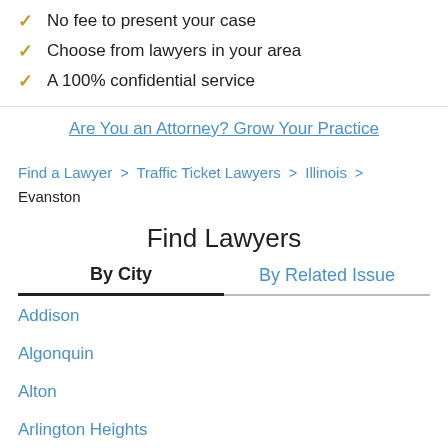No fee to present your case
Choose from lawyers in your area
A 100% confidential service
Are You an Attorney? Grow Your Practice
Find a Lawyer > Traffic Ticket Lawyers > Illinois > Evanston
Find Lawyers
By City | By Related Issue
Addison
Algonquin
Alton
Arlington Heights